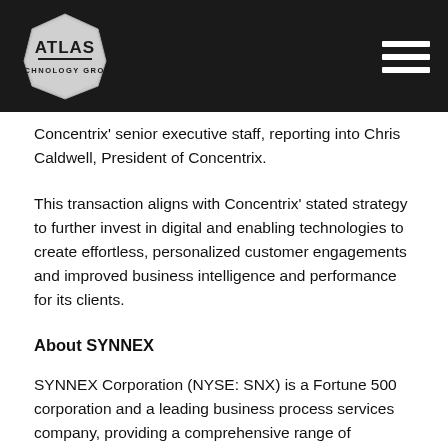Atlas Technology Group
Concentrix' senior executive staff, reporting into Chris Caldwell, President of Concentrix.
This transaction aligns with Concentrix' stated strategy to further invest in digital and enabling technologies to create effortless, personalized customer engagements and improved business intelligence and performance for its clients.
About SYNNEX
SYNNEX Corporation (NYSE: SNX) is a Fortune 500 corporation and a leading business process services company, providing a comprehensive range of distribution, logistics and integration services for the technology industry and